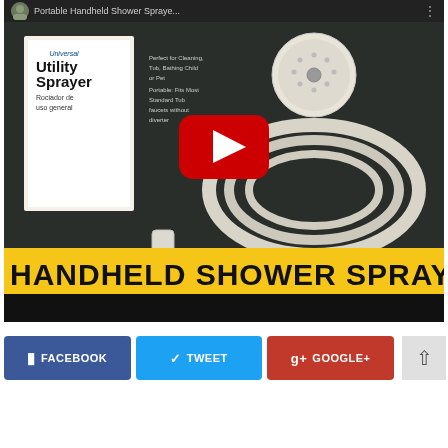[Figure (screenshot): YouTube video thumbnail showing a Universal Utility Sprayer (handheld shower sprayer) product in packaging alongside a coiled hose on a dark background. A yellow banner at the bottom reads 'HANDHELD SHOWER SPRAYE...' in bold black text. A YouTube play button is overlaid in the center. The top bar shows a video title 'Portable Handheld Shower Spraye...' with an avatar and menu dots.]
FACEBOOK
TWEET
GOOGLE+